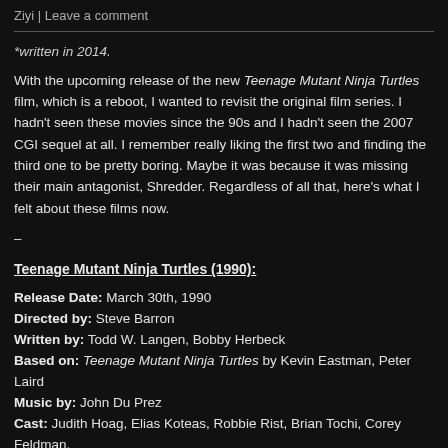Ziyi | Leave a comment
*written in 2014.
With the upcoming release of the new Teenage Mutant Ninja Turtles film, which is a reboot, I wanted to revisit the original film series. I hadn't seen these movies since the 90s and I hadn't seen the 2007 CGI sequel at all. I remember really liking the first two and finding the third one to be pretty boring. Maybe it was because it was missing their main antagonist, Shredder. Regardless of all that, here's what I felt about these films now.
–
Teenage Mutant Ninja Turtles (1990):
Release Date: March 30th, 1990
Directed by: Steve Barron
Written by: Todd W. Langen, Bobby Herbeck
Based on: Teenage Mutant Ninja Turtles by Kevin Eastman, Peter Laird
Music by: John Du Prez
Cast: Judith Hoag, Elias Koteas, Robbie Rist, Brian Tochi, Corey Feldman, Kevin Clash, Sam Rockwell, Scott Wolf (uncredited)
Golden Harvest, Limelight Entertainment, 888 Productions, Mirror Enterprises...